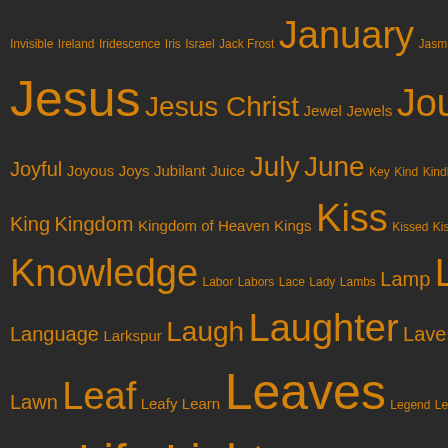[Figure (infographic): Word cloud on dark brown/charcoal background with golden/amber colored words of varying sizes. Words related to letters I through M including Jesus, Joy, Kindness, Kiss, Knowledge, Land, Landscape, Laugh, Laughter, Leaves, Life, Light, Listen, Love, Lord, Magic, Magical, Mankind, Meadows, Melodies and many others.]